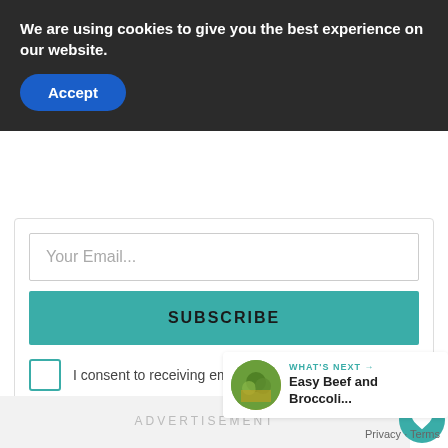We are using cookies to give you the best experience on our website.
Accept
Your Email...
SUBSCRIBE
I consent to receiving emails and personalized ads.
ADVERTISEMENT
1
WHAT'S NEXT → Easy Beef and Broccoli...
Privacy · Terms